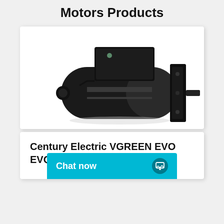Motors Products
[Figure (photo): Black electric motor unit - Century Electric VGREEN EVO EVQ165, cylindrical motor body with black casing and mounting flange, shown in three-quarter perspective view against white background]
Century Electric VGREEN EVO EVQ165 - Var...